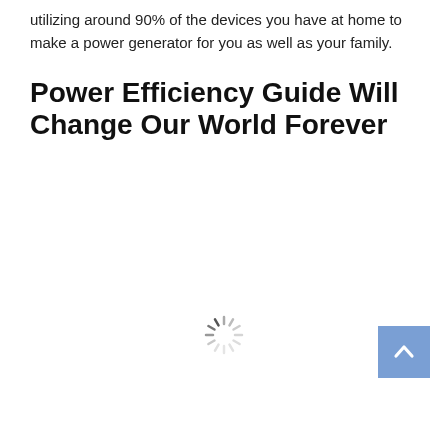utilizing around 90% of the devices you have at home to make a power generator for you as well as your family.
Power Efficiency Guide Will Change Our World Forever
[Figure (other): A loading spinner (dashed circular spinner graphic) centered on the page, indicating content is loading.]
[Figure (other): A blue 'back to top' button with a white upward-pointing chevron arrow, positioned in the bottom-right corner.]